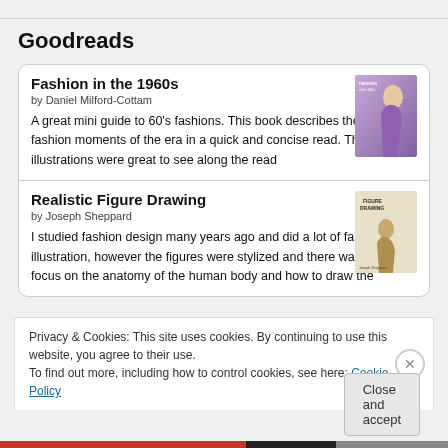Goodreads
Fashion in the 1960s
by Daniel Milford-Cottam
A great mini guide to 60's fashions. This book describes the key fashion moments of the era in a quick and concise read. The illustrations were great to see along the read
[Figure (photo): Book cover of Fashion in the 1960s showing a woman in a purple dress]
Realistic Figure Drawing
by Joseph Sheppard
I studied fashion design many years ago and did a lot of fashion illustration, however the figures were stylized and there wasn't much focus on the anatomy of the human body and how to draw the
[Figure (photo): Book cover of Realistic Figure Drawing]
Privacy & Cookies: This site uses cookies. By continuing to use this website, you agree to their use.
To find out more, including how to control cookies, see here: Cookie Policy
Close and accept